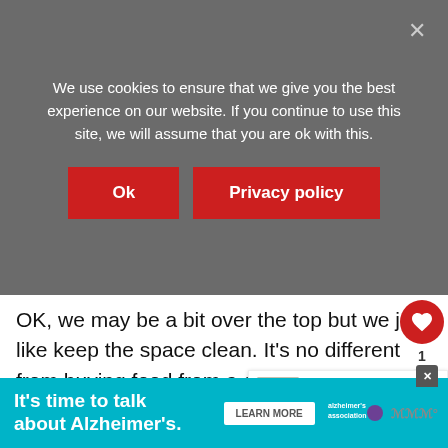We use cookies to ensure that we give you the best experience on our website. If you continue to use this site, we will assume that you are ok with this.
Ok  Privacy policy
OK, we may be a bit over the top but we just like keep the space clean. It's no different from buying food from a deli or food bar as consume it to be clean as a whistle. I can already hear the kids
[Figure (screenshot): WHAT'S NEXT arrow label with thumbnail image and text 'The Ultimate Guide To...']
[Figure (infographic): Bottom advertisement banner: teal background with text 'It's time to talk about Alzheimer's.' with Learn More button and Alzheimer's association logo]